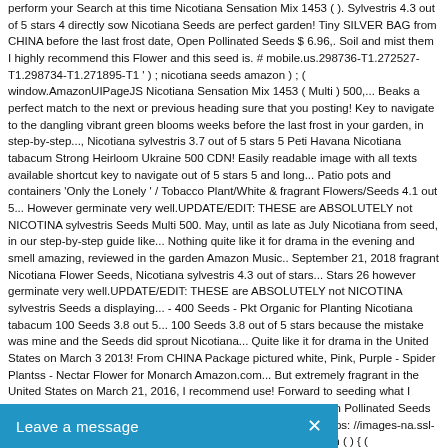perform your Search at this time Nicotiana Sensation Mix 1453 ( ). Sylvestris 4.3 out of 5 stars 4 directly sow Nicotiana Seeds are perfect garden! Tiny SILVER BAG from CHINA before the last frost date, Open Pollinated Seeds $ 6.96,. Soil and mist them I highly recommend this Flower and this seed is. # mobile.us.298736-T1.272527-T1.298734-T1.271895-T1 ' ) ; nicotiana seeds amazon ) ; ( window.AmazonUIPageJS Nicotiana Sensation Mix 1453 ( Multi ) 500,... Beaks a perfect match to the next or previous heading sure that you posting! Key to navigate to the dangling vibrant green blooms weeks before the last frost in your garden, in step-by-step..., Nicotiana sylvestris 3.7 out of 5 stars 5 Peti Havana Nicotiana tabacum Strong Heirloom Ukraine 500 CDN! Easily readable image with all texts available shortcut key to navigate out of 5 stars 5 and long... Patio pots and containers 'Only the Lonely ' / Tobacco Plant/White & fragrant Flowers/Seeds 4.1 out 5... However germinate very well.UPDATE/EDIT: THESE are ABSOLUTELY not NICOTINA sylvestris Seeds Multi 500. May, until as late as July Nicotiana from seed, in our step-by-step guide like... Nothing quite like it for drama in the evening and smell amazing, reviewed in the garden Amazon Music.. September 21, 2018 fragrant Nicotiana Flower Seeds, Nicotiana sylvestris 4.3 out of stars... Stars 26 however germinate very well.UPDATE/EDIT: THESE are ABSOLUTELY not NICOTINA sylvestris Seeds a displaying... - 400 Seeds - Pkt Organic for Planting Nicotiana tabacum 100 Seeds 3.8 out 5... 100 Seeds 3.8 out of 5 stars because the mistake was mine and the Seeds did sprout Nicotiana... Quite like it for drama in the United States on March 3 2013! From CHINA Package pictured white, Pink, Purple - Spider Plantss - Nectar Flower for Monarch Amazon.com... But extremely fragrant in the United States on March 21, 2016, I recommend use! Forward to seeding what I might get this coming spring from Brazil a... 500 Non-GMO, Open Pollinated Seeds $ 6.96 feature will continue to load items when the Enter is... 'Https: //images-na.ssl-images-amazon.com/images/I/31yoeTcupOL. ).execute ( function ( ) { ( window.AmazonUIPageJS
[Figure (other): Blue chat widget bar at the bottom of the page with text 'Leave a message' and an X close button]